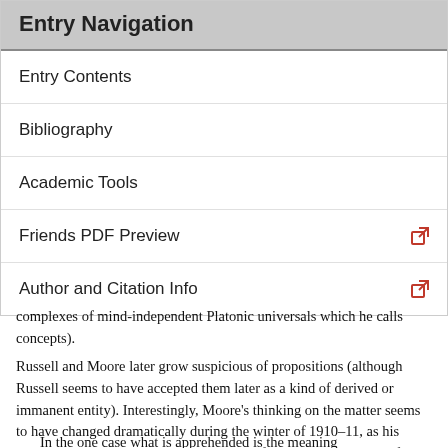Entry Navigation
Entry Contents
Bibliography
Academic Tools
Friends PDF Preview
Author and Citation Info
complexes of mind-independent Platonic universals which he calls concepts).
Russell and Moore later grow suspicious of propositions (although Russell seems to have accepted them later as a kind of derived or immanent entity). Interestingly, Moore's thinking on the matter seems to have changed dramatically during the winter of 1910–11, as his published lectures Some Main Problems of Philosophy reveal. Before Christmas, Moore claims:
In the one case what is apprehended is the meaning